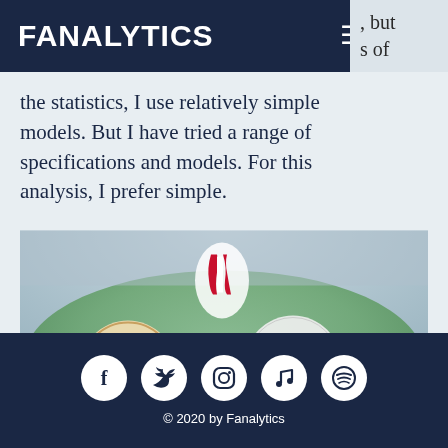FANALYTICS
the statistics, I use relatively simple models. But I have tried a range of specifications and models. For this analysis, I prefer simple.
[Figure (photo): Collage of MLB baseball team logos (Red Sox, Giants, Yankees, Cubs, Dodgers, Cardinals) overlaid on a baseball stadium background]
© 2020 by Fanalytics